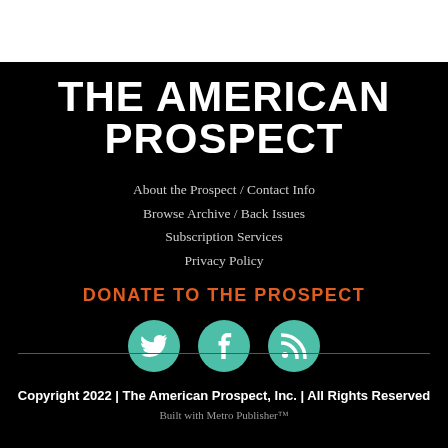[Figure (logo): The American Prospect logo in large bold white uppercase text on black background]
About the Prospect / Contact Info
Browse Archive / Back Issues
Subscription Services
Privacy Policy
DONATE TO THE PROSPECT
[Figure (illustration): Three teal circular social media icons: Twitter bird, Facebook f, RSS feed symbol]
Copyright 2022 | The American Prospect, Inc. | All Rights Reserved
Built with Metro Publisher™